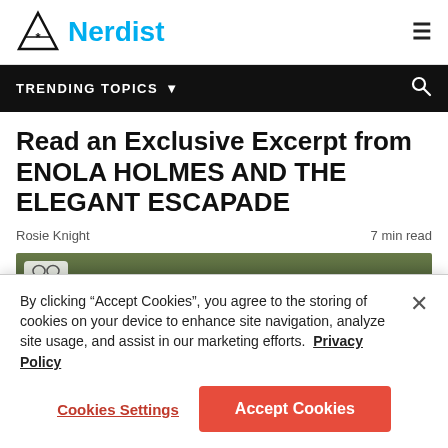Nerdist
TRENDING TOPICS
Read an Exclusive Excerpt from ENOLA HOLMES AND THE ELEGANT ESCAPADE
Rosie Knight    7 min read
[Figure (photo): A dark-toned photo showing two characters from Enola Holmes, partially visible, with a stone wall background. A small badge with spectacles icon is shown in the top left corner.]
By clicking “Accept Cookies”, you agree to the storing of cookies on your device to enhance site navigation, analyze site usage, and assist in our marketing efforts.  Privacy Policy
Cookies Settings
Accept Cookies